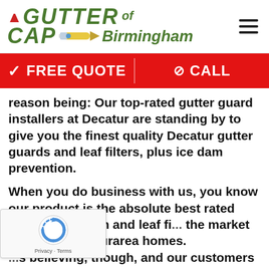[Figure (logo): Gutter Cap of Birmingham logo with red santa hat, green stylized text, and rocket/pencil graphic]
[Figure (other): Hamburger menu icon (three horizontal lines) in top right corner]
[Figure (infographic): Red CTA bar with two sections: checkmark FREE QUOTE (left) and phone icon CALL (right), separated by a vertical divider]
reason being: Our top-rated gutter guard installers at Decatur are standing by to give you the finest quality Decatur gutter guards and leaf filters, plus ice dam prevention.
When you do business with us, you know our product is the absolute best rated gutter protection and leaf fi... the market today for Decaturarea homes. ...s believing, though, and our customers have seen our leaf filter in action.
[Figure (other): reCAPTCHA widget overlay bottom left with spinning arrows logo and Privacy - Terms text]